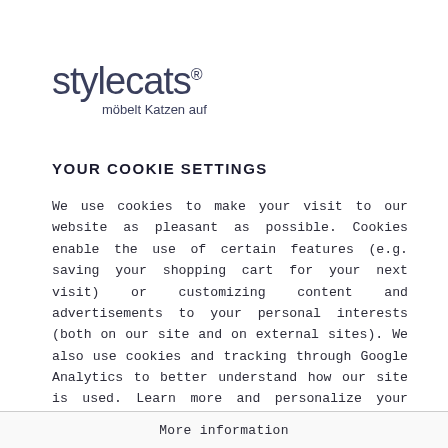[Figure (logo): stylecats® logo with tagline 'möbelt Katzen auf']
YOUR COOKIE SETTINGS
We use cookies to make your visit to our website as pleasant as possible. Cookies enable the use of certain features (e.g. saving your shopping cart for your next visit) or customizing content and advertisements to your personal interests (both on our site and on external sites). We also use cookies and tracking through Google Analytics to better understand how our site is used. Learn more and personalize your settings by clicking "Learn more".
More information